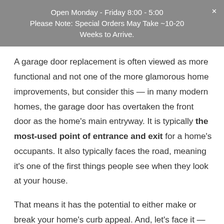Open Monday - Friday 8:00 - 5:00
Please Note: Special Orders May Take ~10-20 Weeks to Arrive.
A garage door replacement is often viewed as more functional and not one of the more glamorous home improvements, but consider this — in many modern homes, the garage door has overtaken the front door as the home's main entryway. It is typically the most-used point of entrance and exit for a home's occupants. It also typically faces the road, meaning it's one of the first things people see when they look at your house.
That means it has the potential to either make or break your home's curb appeal. And, let's face it — whether you're